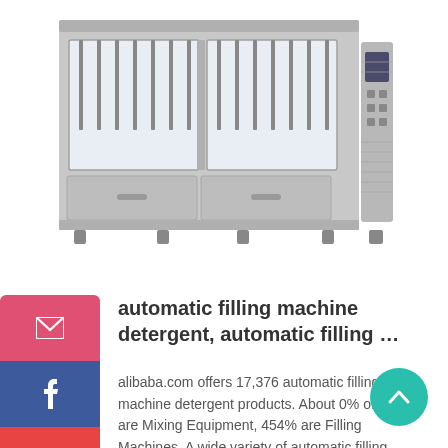[Figure (photo): Industrial automatic filling machine with stainless steel housing, two compartments with filling nozzles visible through glass panels, digital control panel on the right side, adjustable feet at bottom.]
automatic filling machine detergent, automatic filling …
alibaba.com offers 17,376 automatic filling machine detergent products. About 0% of these are Mixing Equipment, 454% are Filling Machines. A wide variety of automatic filling machine detergent options are available to you, such as condition, mixer type.